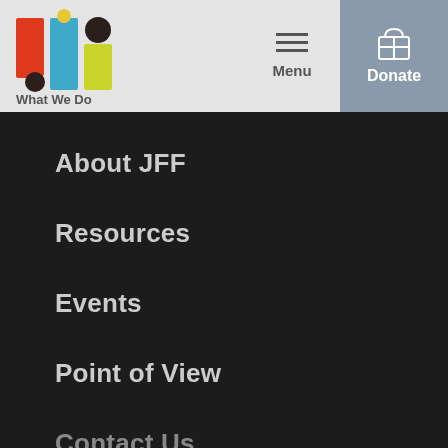[Figure (logo): JFF logo with colorful geometric shapes in red, blue, yellow-green, and dark brown/black]
What We Do   Menu   Donate
About JFF
Resources
Events
Point of View
Contact Us
This website stores cookies on your computer. These cookies are used to improve your website experience and provide more personalized services to you, both on this website and through other media. To find out more about the cookies we use, see our Privacy Policy.
We won't track your information when you visit our site. But in order to comply with your preferences, we'll have to use just one tiny cookie so that you're not asked to make this choice again.
Accept   Decline